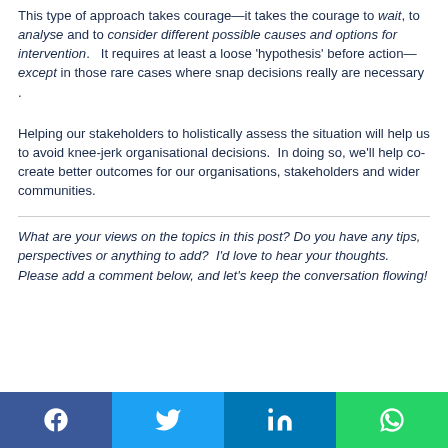This type of approach takes courage—it takes the courage to wait, to analyse and to consider different possible causes and options for intervention.   It requires at least a loose 'hypothesis' before action—except in those rare cases where snap decisions really are necessary .
Helping our stakeholders to holistically assess the situation will help us to avoid knee-jerk organisational decisions.  In doing so, we'll help co-create better outcomes for our organisations, stakeholders and wider communities.
What are your views on the topics in this post? Do you have any tips, perspectives or anything to add?  I'd love to hear your thoughts.   Please add a comment below, and let's keep the conversation flowing!